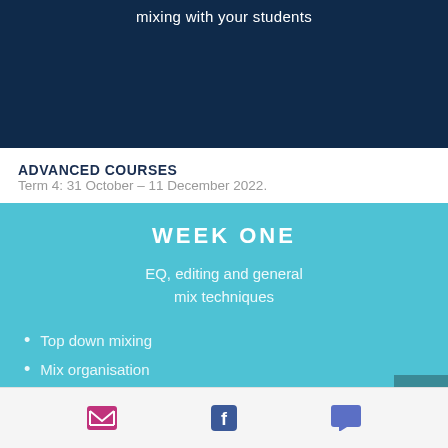mixing with your students
ADVANCED COURSES   Term 4: 31 October – 11 December 2022.
WEEK ONE
EQ, editing and general mix techniques
Top down mixing
Mix organisation
Gain staging
Email | Facebook | Chat